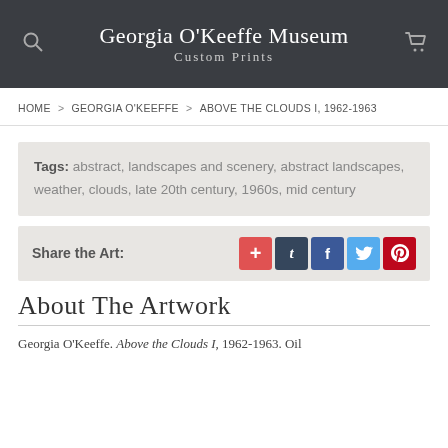Georgia O'Keeffe Museum Custom Prints
HOME > GEORGIA O'KEEFFE > ABOVE THE CLOUDS I, 1962-1963
Tags: abstract, landscapes and scenery, abstract landscapes, weather, clouds, late 20th century, 1960s, mid century
Share the Art:
About The Artwork
Georgia O'Keeffe. Above the Clouds I, 1962-1963. Oil